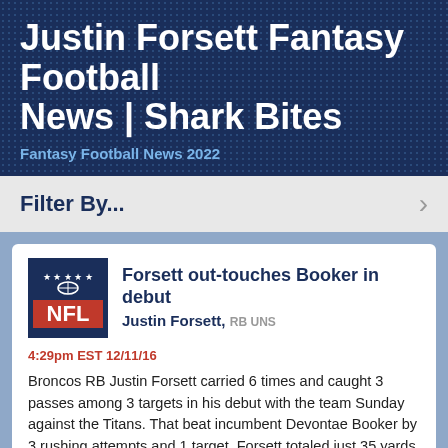Justin Forsett Fantasy Football News | Shark Bites
Fantasy Football News 2022
Filter By...
Forsett out-touches Booker in debut
Justin Forsett, RB UNS
4:29pm EST 12/11/16
Broncos RB Justin Forsett carried 6 times and caught 3 passes among 3 targets in his debut with the team Sunday against the Titans. That beat incumbent Devontae Booker by 3 rushing attempts and 1 target. Forsett totaled just 35 yards against a weak Tennessee defense, so he's not close to